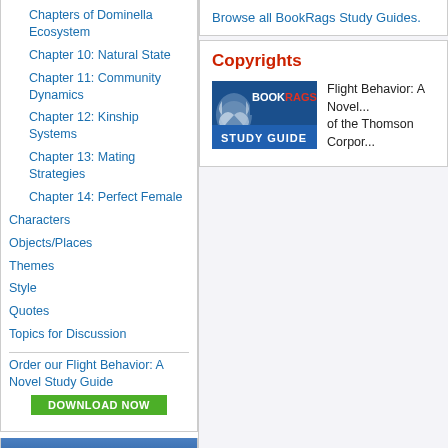Chapters of Dominella Ecosystem
Chapter 10: Natural State
Chapter 11: Community Dynamics
Chapter 12: Kinship Systems
Chapter 13: Mating Strategies
Chapter 14: Perfect Female
Characters
Objects/Places
Themes
Style
Quotes
Topics for Discussion
Order our Flight Behavior: A Novel Study Guide
[Figure (other): Green DOWNLOAD NOW button]
Related Topics
Animal, Vegetable, Miracle
The Lacuna
Homeland and Other Stories
Small Wonder
Browse all BookRags Study Guides.
Copyrights
[Figure (logo): BookRags Study Guide logo badge]
Flight Behavior: A Novel... of the Thomson Corpor...